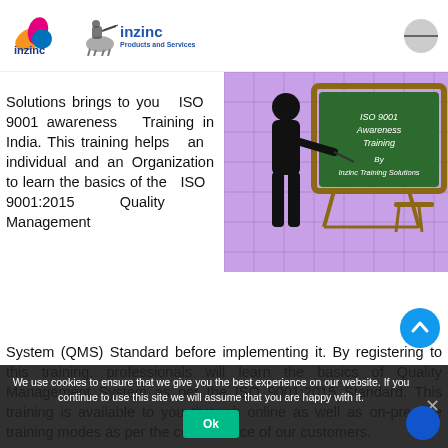inzinc Products and Services — navigation header with logo and hamburger menu
Solutions brings to you ISO 9001 awareness Training in India. This training helps an individual and an Organization to learn the basics of the ISO 9001:2015 Quality Management System (QMS) Standard before implementing it. By registering to this training, professionals will learn the basics of Quality Management System as per the ISO 9001:2015 Standard. This training is available to you through online as well as on-premise training modes as per the convenience of our customers.
[Figure (illustration): Illustration of a person in silhouette pointing at a green chalkboard that reads 'ISO 9001 Awareness Training By Inzinc Training Solutions', set against a purple tiled background.]
We use cookies to ensure that we give you the best experience on our website. If you continue to use this site we will assume that you are happy with it.